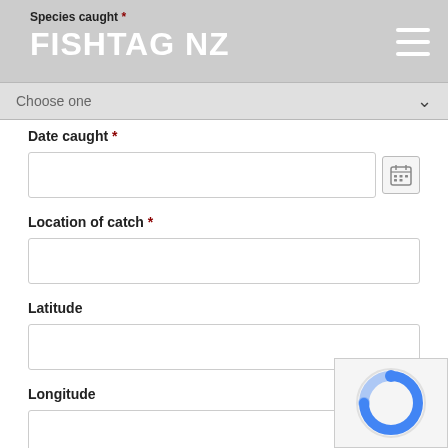FISHTAG NZ
Species caught *
Choose one
Date caught *
Location of catch *
Latitude
Longitude